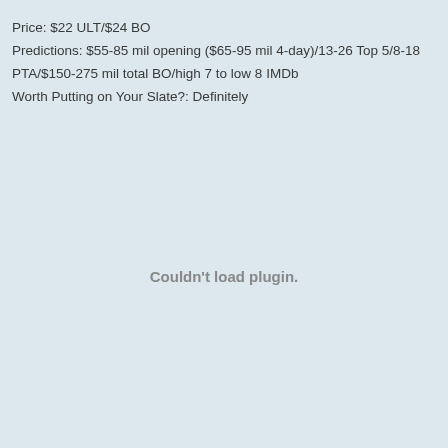Price: $22 ULT/$24 BO
Predictions: $55-85 mil opening ($65-95 mil 4-day)/13-26 Top 5/8-18 PTA/$150-275 mil total BO/high 7 to low 8 IMDb
Worth Putting on Your Slate?: Definitely
Couldn't load plugin.